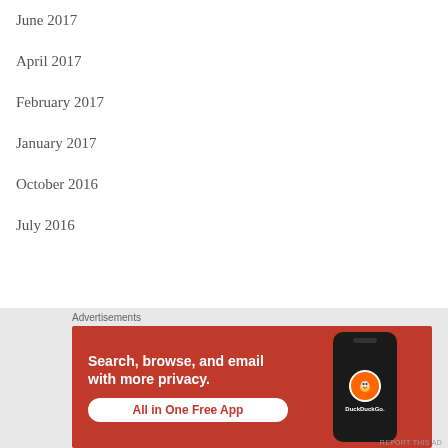June 2017
April 2017
February 2017
January 2017
October 2016
July 2016
[Figure (screenshot): DuckDuckGo advertisement banner with orange background showing text 'Search, browse, and email with more privacy. All in One Free App' with a phone mockup showing DuckDuckGo logo]